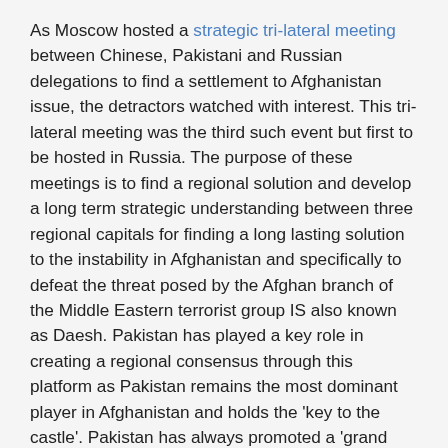As Moscow hosted a strategic tri-lateral meeting between Chinese, Pakistani and Russian delegations to find a settlement to Afghanistan issue, the detractors watched with interest. This tri-lateral meeting was the third such event but first to be hosted in Russia. The purpose of these meetings is to find a regional solution and develop a long term strategic understanding between three regional capitals for finding a long lasting solution to the instability in Afghanistan and specifically to defeat the threat posed by the Afghan branch of the Middle Eastern terrorist group IS also known as Daesh. Pakistan has played a key role in creating a regional consensus through this platform as Pakistan remains the most dominant player in Afghanistan and holds the 'key to the castle'. Pakistan has always promoted a 'grand consensus' as a long term solution for Afghanistan, an arrangement which opens doors for the Afghan Taliban to be absorbed into the political apparatus of Afghanistan, a proposition opposed by India. Therefore it remains Pakistan's constant ambition